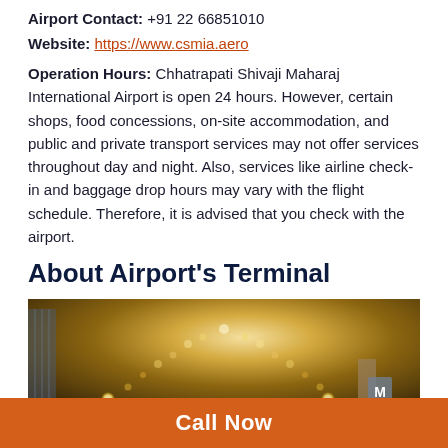Airport Contact: +91 22 66851010
Website: https://www.csmia.aero
Operation Hours: Chhatrapati Shivaji Maharaj International Airport is open 24 hours. However, certain shops, food concessions, on-site accommodation, and public and private transport services may not offer services throughout day and night. Also, services like airline check-in and baggage drop hours may vary with the flight schedule. Therefore, it is advised that you check with the airport.
About Airport's Terminal
[Figure (photo): Interior photo of Chhatrapati Shivaji Maharaj International Airport terminal showing ornate ceiling with petal/leaf pattern design and rows of lights]
Call Now